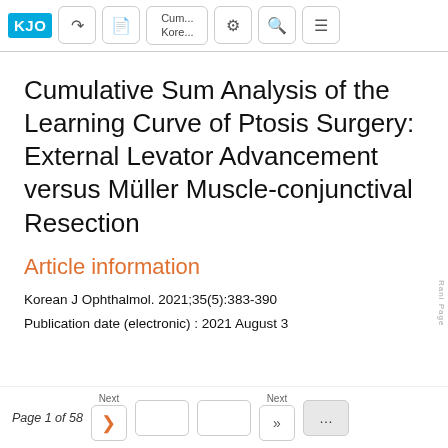[Figure (screenshot): KJO journal website toolbar with logo, share, PDF, Cumulative/Korean text, settings, search, and menu buttons]
Cumulative Sum Analysis of the Learning Curve of Ptosis Surgery: External Levator Advancement versus Müller Muscle-conjunctival Resection
Article information
Korean J Ophthalmol. 2021;35(5):383-390
Publication date (electronic) : 2021 August 3
Page 1 of 58